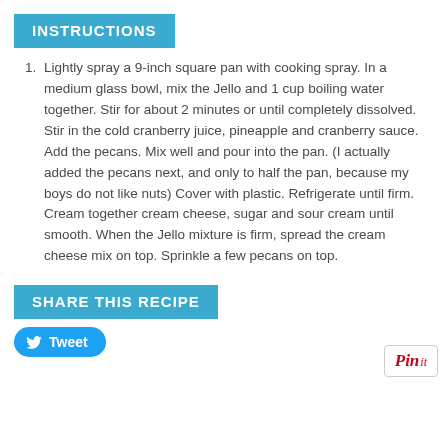INSTRUCTIONS
Lightly spray a 9-inch square pan with cooking spray. In a medium glass bowl, mix the Jello and 1 cup boiling water together. Stir for about 2 minutes or until completely dissolved. Stir in the cold cranberry juice, pineapple and cranberry sauce. Add the pecans. Mix well and pour into the pan. (I actually added the pecans next, and only to half the pan, because my boys do not like nuts) Cover with plastic. Refrigerate until firm. Cream together cream cheese, sugar and sour cream until smooth. When the Jello mixture is firm, spread the cream cheese mix on top. Sprinkle a few pecans on top.
SHARE THIS RECIPE
Tweet
[Figure (logo): Pinterest Pin It button]